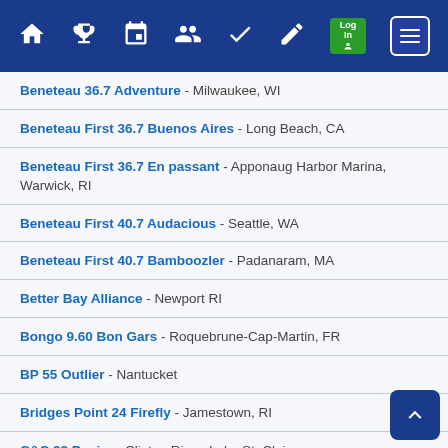Navigation bar with home, trophy, calendar, people, checkmark, document, login, and menu icons
Beneteau 36.7 Adventure - Milwaukee, WI
Beneteau First 36.7 Buenos Aires - Long Beach, CA
Beneteau First 36.7 En passant - Apponaug Harbor Marina, Warwick, RI
Beneteau First 40.7 Audacious - Seattle, WA
Beneteau First 40.7 Bamboozler - Padanaram, MA
Better Bay Alliance - Newport RI
Bongo 9.60 Bon Gars - Roquebrune-Cap-Martin, FR
BP 55 Outlier - Nantucket
Bridges Point 24 Firefly - Jamestown, RI
C&C 32 Desire - Clinton River, Lake St. Clair